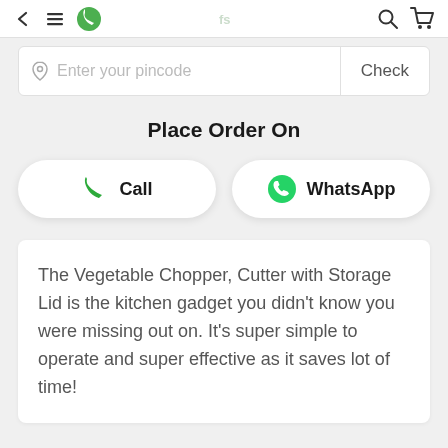navigation bar with back, menu, logo, search, cart icons
Enter your pincode  Check
Place Order On
Call
WhatsApp
The Vegetable Chopper, Cutter with Storage Lid is the kitchen gadget you didn't know you were missing out on. It's super simple to operate and super effective as it saves lot of time!